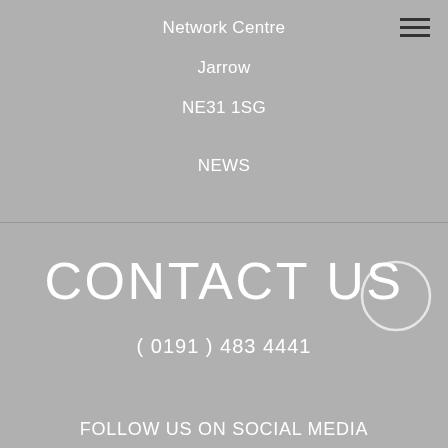Network Centre
Jarrow
NE31 1SG
NEWS
CONTACT US
( 0191 ) 483 4441
FOLLOW US ON SOCIAL MEDIA